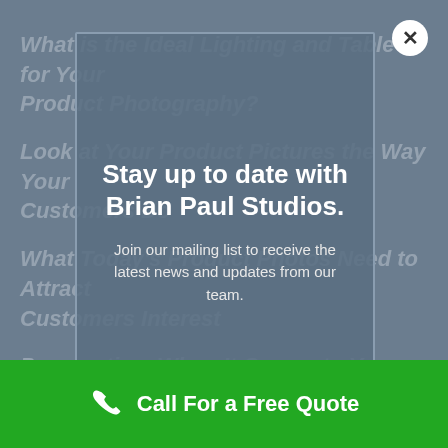What is the Ideal Lighting and Table for Your Product Photography?
Look at Your Product Pictures the Way Your Customers Do
What Today's Product Photos Need to Attract Customers Interest
Perspective: When It Comes to Your Product Photograph
Does the Camera Brand You Use Really Matter?
Recent Comments
Stay up to date with Brian Paul Studios.
Join our mailing list to receive the latest news and updates from our team.
Call For a Free Quote